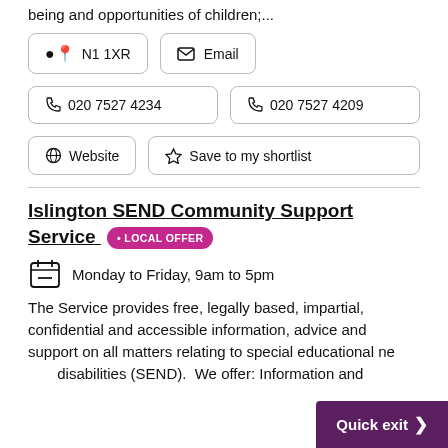being and opportunities of children;...
N1 1XR
Email
020 7527 4234
020 7527 4209
Website
Save to my shortlist
Islington SEND Community Support Service • LOCAL OFFER
Monday to Friday, 9am to 5pm
The Service provides free, legally based, impartial, confidential and accessible information, advice and support on all matters relating to special educational needs and disabilities (SEND). We offer: Information and
Quick exit >